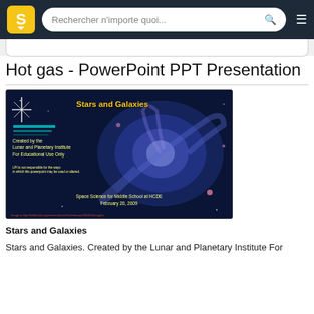Rechercher n'importe quoi...
Hot gas - PowerPoint PPT Presentation
[Figure (screenshot): Slide thumbnail showing Stars and Galaxies presentation. Dark blue background with spiral galaxy image. Yellow title 'Stars and Galaxies', credits to Lunar and Planetary Institute, Space Science for Middle School at HCDE, February 20, 2009.]
Stars and Galaxies
Stars and Galaxies. Created by the Lunar and Planetary Institute For